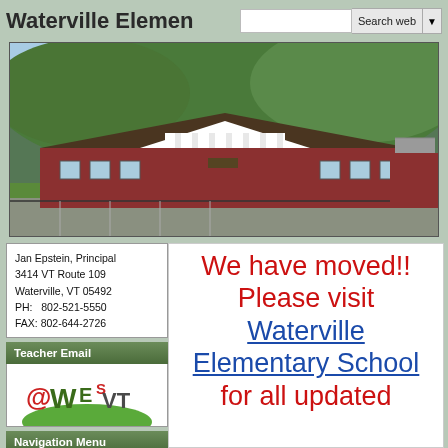Waterville Elemen
[Figure (photo): Photo of Waterville Elementary School building, a red brick building with white entrance, set against a green forested hillside in Vermont.]
Jan Epstein, Principal
3414 VT Route 109
Waterville, VT 05492
PH:   802-521-5550
FAX: 802-644-2726
Teacher Email
[Figure (logo): WES VT logo: '@WESVT' stylized text with green hill and red/green lettering]
Navigation Menu
Home
We have moved!! Please visit Waterville Elementary School for all updated